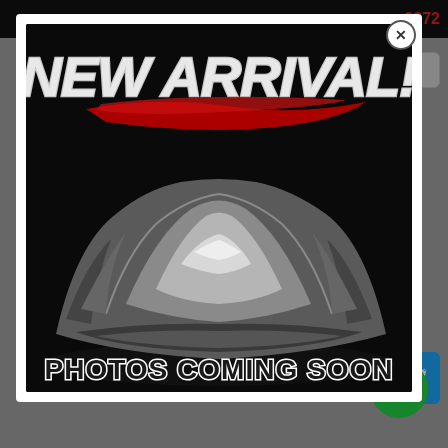-9872
[Figure (screenshot): Modal popup showing a black promotional image with text 'NEW ARRIVAL!' in white/chrome italic font with red brush stroke underline, and a car covered in a silver/chrome drape cover on a dark background, with 'PHOTOS COMING SOON' text at the bottom in white outline letters. Modal has a close (X) button in top right corner.]
2015 RAM 1500
Automatic
Miles : 164,558
VIN : 1C6RR7NM2FS641107
Stock Number : 641107